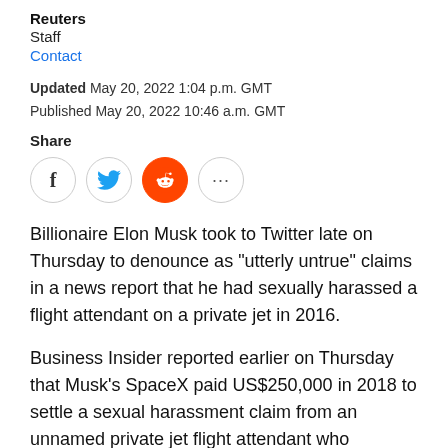Reuters
Staff
Contact
Updated May 20, 2022 1:04 p.m. GMT
Published May 20, 2022 10:46 a.m. GMT
Share
[Figure (other): Social share icons: Facebook, Twitter, Reddit, More (...)]
Billionaire Elon Musk took to Twitter late on Thursday to denounce as "utterly untrue" claims in a news report that he had sexually harassed a flight attendant on a private jet in 2016.
Business Insider reported earlier on Thursday that Musk's SpaceX paid US$250,000 in 2018 to settle a sexual harassment claim from an unnamed private jet flight attendant who accused Musk of exposing himself to her.